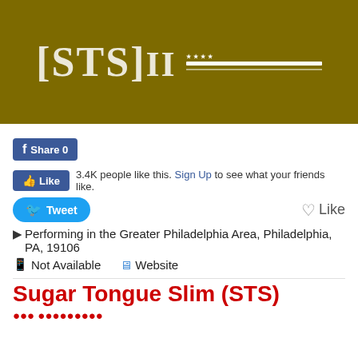[Figure (photo): Gold/olive background banner image with stylized white text/logo resembling '[STS]II' with additional text and 4 stars on the right side]
[Figure (screenshot): Facebook Share button showing 'Share 0' count]
[Figure (screenshot): Facebook Like button with text '3.4K people like this. Sign Up to see what your friends like.']
[Figure (screenshot): Twitter Tweet button on the left and a heart Like icon on the right]
Performing in the Greater Philadelphia Area, Philadelphia, PA, 19106
Not Available  Website
Sugar Tongue Slim (STS)